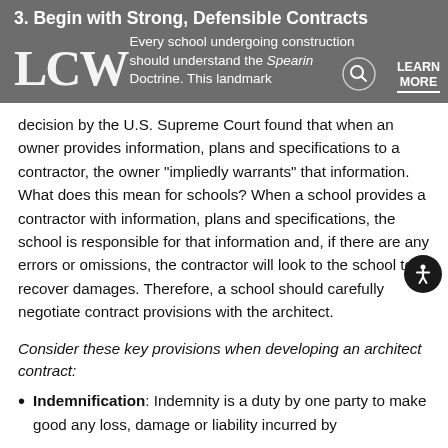3. Begin with Strong, Defensible Contracts
[Figure (logo): LCW law firm logo in large white serif letters on grey background]
Every school undergoing construction should understand the Spearin Doctrine. This landmark decision by the U.S. Supreme Court found that when an owner provides information, plans and specifications to a contractor, the owner “impliedly warrants” that information. What does this mean for schools? When a school provides a contractor with information, plans and specifications, the school is responsible for that information and, if there are any errors or omissions, the contractor will look to the school to recover damages. Therefore, a school should carefully negotiate contract provisions with the architect.
Consider these key provisions when developing an architect contract:
Indemnification: Indemnity is a duty by one party to make good any loss, damage or liability incurred by